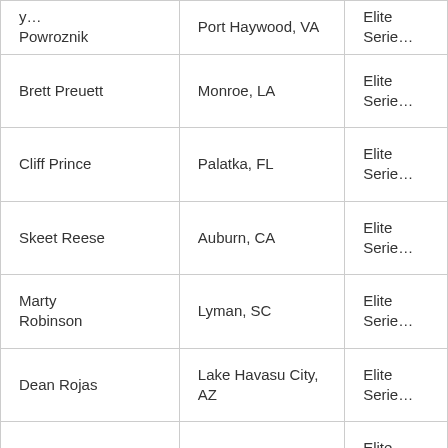| Name | Location | Series |
| --- | --- | --- |
| y…
Powroznik | Port Haywood, VA | Elite Serie… |
| Brett Preuett | Monroe, LA | Elite Serie… |
| Cliff Prince | Palatka, FL | Elite Serie… |
| Skeet Reese | Auburn, CA | Elite Serie… |
| Marty Robinson | Lyman, SC | Elite Serie… |
| Dean Rojas | Lake Havasu City, AZ | Elite Serie… |
| Scott Rook | Little Rock, AR | Elite Serie… |